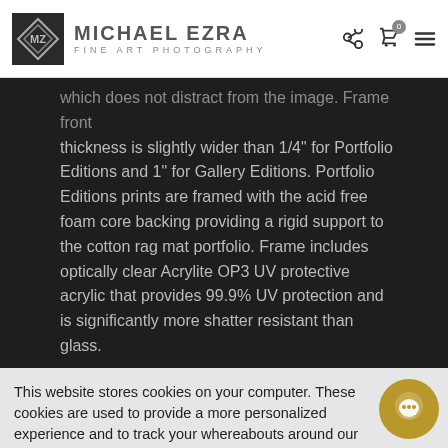MICHAEL EZRA FINE ART PHOTOGRAPHY
which does not distract from the image. Frame front thickness is slightly wider than 1/4" for Portfolio Editions and 1" for Gallery Editions. Portfolio Editions prints are framed with the acid free foam core backing providing a rigid support to the cotton rag mat portfolio. Frame includes optically clear Acrylite OP3 UV protective acrylic that provides 99.9% UV protection and is significantly more shatter resistant than glass.
Custom size matting and framing is available on request
This website stores cookies on your computer. These cookies are used to provide a more personalized experience and to track your whereabouts around our website in compliance with the European General Data Protection Regulation. If you decide to to opt-out of any future tracking, a cookie will be setup in your browser to remember this choice for one year.
Accept or Deny